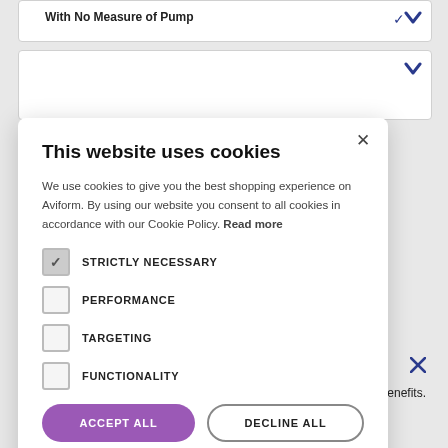With No Measure of Pump
1 item
This website uses cookies
We use cookies to give you the best shopping experience on Aviform. By using our website you consent to all cookies in accordance with our Cookie Policy. Read more
STRICTLY NECESSARY (checked)
PERFORMANCE (unchecked)
TARGETING (unchecked)
FUNCTIONALITY (unchecked)
ACCEPT ALL
DECLINE ALL
SHOW DETAILS
ny benefits.